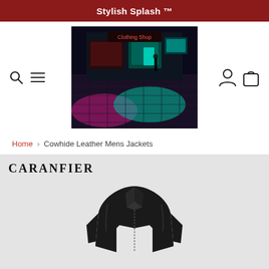Stylish Splash ™
[Figure (photo): Night street scene with neon reflections on wet cobblestone pavement, storefront lights in teal and pink]
Home > Cowhide Leather Mens Jackets
CARANFIER
[Figure (photo): Black cowhide leather men's jacket, collar visible, dark background]